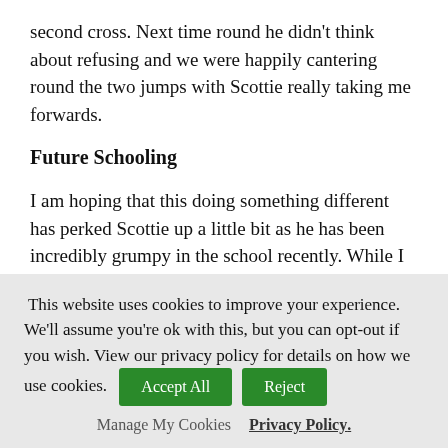second cross. Next time round he didn't think about refusing and we were happily cantering round the two jumps with Scottie really taking me forwards.
Future Schooling
I am hoping that this doing something different has perked Scottie up a little bit as he has been incredibly grumpy in the school recently. While I haven't completely ruled out him being uncomfortable, he has very recently had his back and saddle checked, so I think we would be unlucky for there to be something going on there.
This website uses cookies to improve your experience. We'll assume you're ok with this, but you can opt-out if you wish. View our privacy policy for details on how we use cookies. Accept All Reject
Manage My Cookies   Privacy Policy.